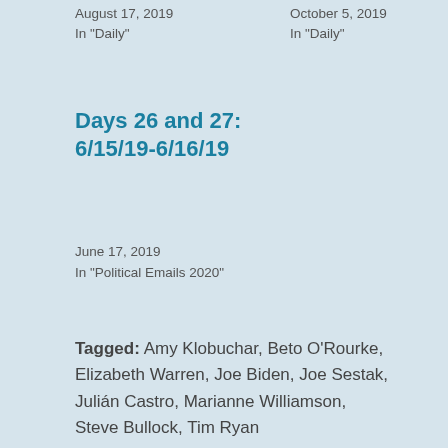August 17, 2019
In "Daily"
October 5, 2019
In "Daily"
Days 26 and 27:
6/15/19-6/16/19
June 17, 2019
In "Political Emails 2020"
Tagged:   Amy Klobuchar,  Beto O'Rourke,  Elizabeth Warren,  Joe Biden,  Joe Sestak,  Julián Castro,  Marianne Williamson,  Steve Bullock,  Tim Ryan